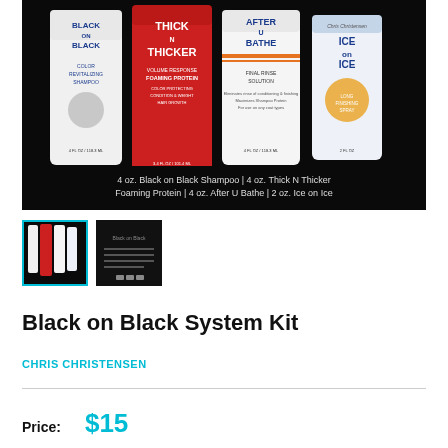[Figure (photo): Product photo showing four hair care bottles on black background: Black on Black Shampoo (4 oz), Thick N Thicker Foaming Protein (4 oz), After U Bathe Final Rinse Solution (4 oz), and Ice on Ice finishing spray (2 oz). Caption below reads: 4 oz. Black on Black Shampoo | 4 oz. Thick N Thicker Foaming Protein | 4 oz. After U Bathe | 2 oz. Ice on Ice]
[Figure (photo): Thumbnail 1 (selected): same four product bottles on black background]
[Figure (photo): Thumbnail 2: dark image showing product information text on black background]
Black on Black System Kit
CHRIS CHRISTENSEN
Price: $15